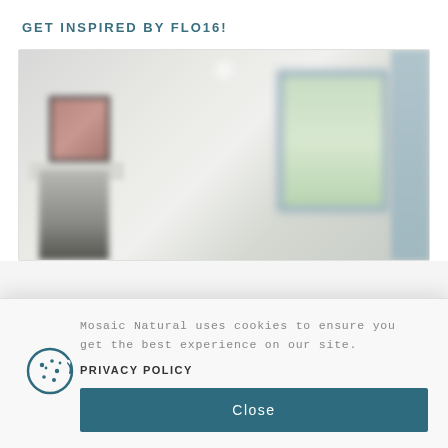GET INSPIRED BY FLO16!
[Figure (photo): Blurred interior living room photo showing a fireplace with mantle and artwork, a window with green foliage visible outside, and a door on the right side. The room has white/light gray walls and appears bright.]
Mosaic Natural uses cookies to ensure you get the best experience on our site.
PRIVACY POLICY
Close